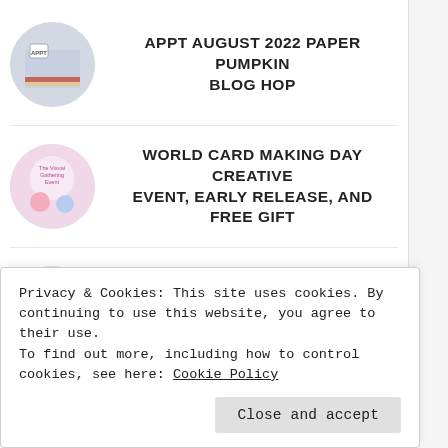APPT AUGUST 2022 PAPER PUMPKIN BLOG HOP
WORLD CARD MAKING DAY CREATIVE EVENT, EARLY RELEASE, AND FREE GIFT
SEPTEMBER 2022 CUSTOMER SALES SPECIALS
Privacy & Cookies: This site uses cookies. By continuing to use this website, you agree to their use. To find out more, including how to control cookies, see here: Cookie Policy